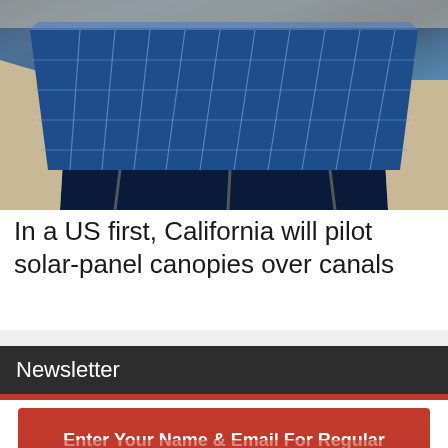[Figure (photo): Aerial view of solar panel canopies installed over a water canal, showing blue photovoltaic panels arranged in a trapezoidal structure above dark water, with sandy terrain on either side.]
In a US first, California will pilot solar-panel canopies over canals
Newsletter
Enter Your Name & Email For Regular FREE Trading Insights